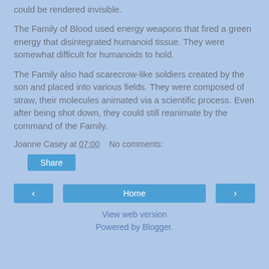could be rendered invisible.
The Family of Blood used energy weapons that fired a green energy that disintegrated humanoid tissue. They were somewhat difficult for humanoids to hold.
The Family also had scarecrow-like soldiers created by the son and placed into various fields. They were composed of straw, their molecules animated via a scientific process. Even after being shot down, they could still reanimate by the command of the Family.
Joanne Casey at 07:00    No comments:
Share
< Home >
View web version
Powered by Blogger.